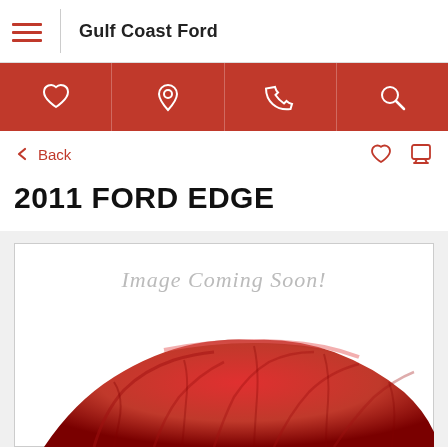Gulf Coast Ford
[Figure (screenshot): Red navigation icon bar with heart, location pin, phone, and search icons on red background]
← Back
2011 FORD EDGE
[Figure (photo): Image Coming Soon! placeholder with red draped car silhouette below]